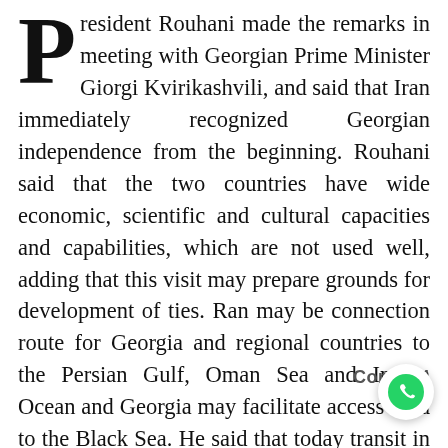President Rouhani made the remarks in meeting with Georgian Prime Minister Giorgi Kvirikashvili, and said that Iran immediately recognized Georgian independence from the beginning. Rouhani said that the two countries have wide economic, scientific and cultural capacities and capabilities, which are not used well, adding that this visit may prepare grounds for development of ties. Ran may be connection route for Georgia and regional countries to the Persian Gulf, Oman Sea and Indian Ocean and Georgia may facilitate access road to the Black Sea. He said that today transit in the region has special importance and considering connection of Iran's railways to Astara and Azerbaijan Republic, development of Tehran-Tbilisi cooperation in this field may create developments in the region. President Rouhani said that investors, especially in private sector should be persuaded for reciprocal cooperation and supported. Rouhani pointed to the old ties between the two nations and existing plenty of tourist attractions in the two countries, and called expansion of tourist
Contact!